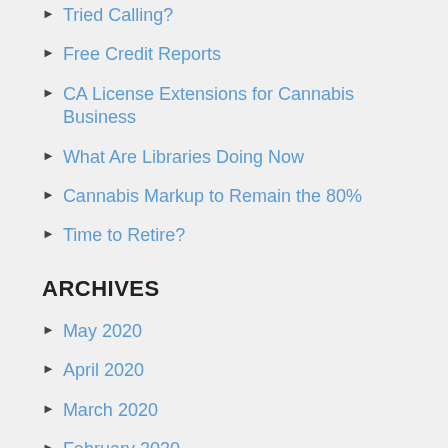Tried Calling?
Free Credit Reports
CA License Extensions for Cannabis Business
What Are Libraries Doing Now
Cannabis Markup to Remain the 80%
Time to Retire?
ARCHIVES
May 2020
April 2020
March 2020
February 2020
January 2020
December 2019